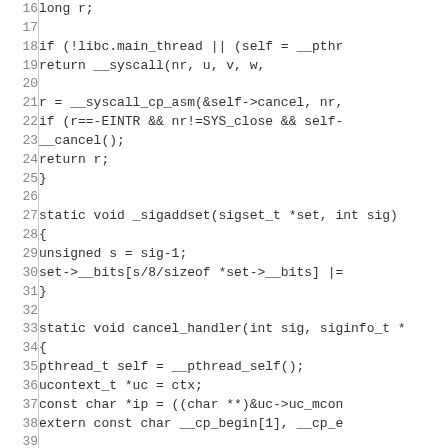[Figure (screenshot): Source code listing in C showing lines 16-45 of a file implementing cancellation point logic with syscall wrappers, _sigaddset, and cancel_handler functions.]